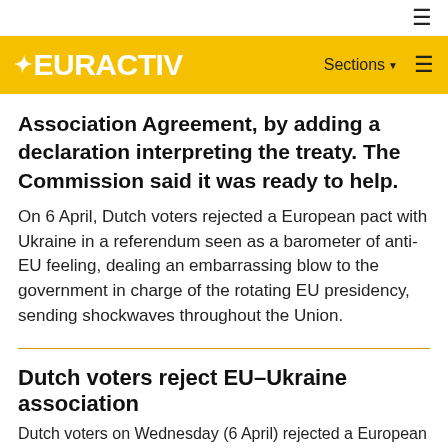☰
[Figure (logo): EURACTIV logo on yellow background with Sections menu and hamburger icon]
Association Agreement, by adding a declaration interpreting the treaty. The Commission said it was ready to help.
On 6 April, Dutch voters rejected a European pact with Ukraine in a referendum seen as a barometer of anti-EU feeling, dealing an embarrassing blow to the government in charge of the rotating EU presidency, sending shockwaves throughout the Union.
Dutch voters reject EU–Ukraine association
Dutch voters on Wednesday (6 April) rejected a European pact with Ukraine in a referendum seen as a barometer of anti-EU feeling, dealing an embarrassing blow to the government in